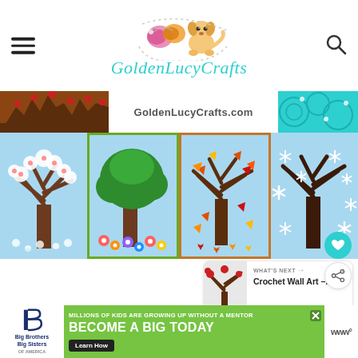GoldenLucyCrafts - hamburger menu and search icon
[Figure (logo): GoldenLucyCrafts logo with yarn hearts and cartoon dog, teal cursive text]
[Figure (infographic): GoldenLucyCrafts.com banner with tree crafts - four seasons crochet/felt tree art panels showing spring, summer, autumn, winter trees on blue backgrounds]
[Figure (infographic): What's Next panel: Crochet Wall Art thumbnail with red berry tree]
[Figure (infographic): Advertisement banner: Big Brothers Big Sisters - Millions of kids are growing up without a mentor. Become a Big Today. Learn How button.]